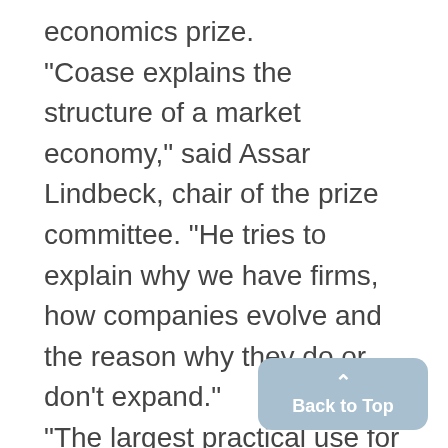economics prize. "Coase explains the structure of a market economy," said Assar Lindbeck, chair of the prize committee. "He tries to explain why we have firms, how companies evolve and the reason why they do or don't expand." "The largest practical use for his studies is that people better can understand how the world works and why," Lindbeck said. Before Coase's pioneering work,